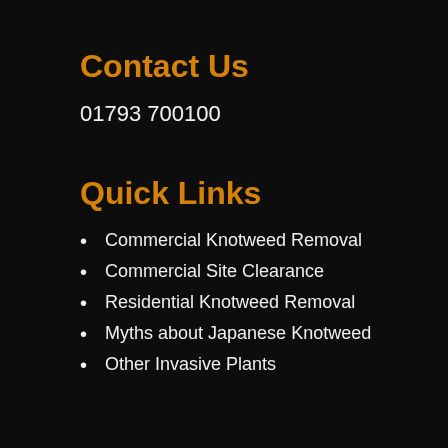Contact Us
01793 700100
Quick Links
Commercial Knotweed Removal
Commercial Site Clearance
Residential Knotweed Removal
Myths about Japanese Knotweed
Other Invasive Plants